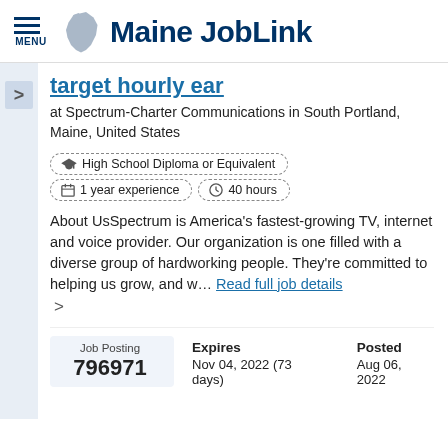Maine JobLink
target hourly ear
at Spectrum-Charter Communications in South Portland, Maine, United States
High School Diploma or Equivalent
1 year experience   40 hours
About UsSpectrum is America's fastest-growing TV, internet and voice provider. Our organization is one filled with a diverse group of hardworking people. They're committed to helping us grow, and w...
| Job Posting | Expires | Posted |
| --- | --- | --- |
| 796971 | Nov 04, 2022 (73 days) | Aug 06, 2022 |